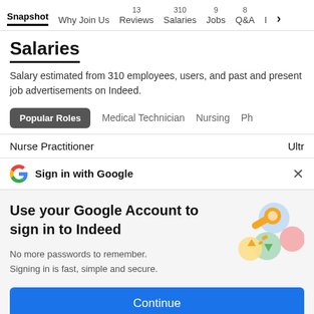Snapshot  Why Join Us  13 Reviews  310 Salaries  9 Jobs  8 Q&A  I >
Salaries
Salary estimated from 310 employees, users, and past and present job advertisements on Indeed.
Popular Roles  Medical Technician  Nursing  Ph
Nurse Practitioner  Ultr
Sign in with Google  ×
Use your Google Account to sign in to Indeed
No more passwords to remember.
Signing in is fast, simple and secure.
[Figure (illustration): Google account illustration with a key and colorful circular icons]
Continue